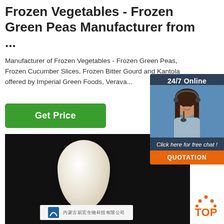Frozen Vegetables - Frozen Green Peas Manufacturer from ...
Manufacturer of Frozen Vegetables - Frozen Green Peas, Frozen Cucumber Slices, Frozen Bitter Gourd and Kantola offered by Imperial Green Foods, Verava...
[Figure (other): Green 'Get Price' button]
[Figure (other): 24/7 online chat widget with customer service representative photo, 'Click here for free chat!' text, and orange QUOTATION button]
[Figure (photo): Product photo showing a white egg/teardrop shaped item against a black background, with a label bar at bottom showing a logo and Chinese text]
[Figure (other): Orange TOP button icon in bottom right corner]